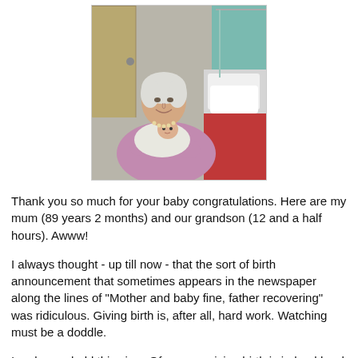[Figure (photo): An elderly woman with white hair wearing a pink/mauve sweater and pearl necklace, smiling and holding a newborn baby wrapped in white cloth. She is seated in a hospital room with a hospital bed visible behind her on the right side.]
Thank you so much for your baby congratulations. Here are my mum (89 years 2 months) and our grandson (12 and a half hours). Awww!
I always thought - up till now - that the sort of birth announcement that sometimes appears in the newspaper along the lines of "Mother and baby fine, father recovering" was ridiculous. Giving birth is, after all, hard work. Watching must be a doddle.
I no longer hold this view. Of course, giving birth is indeed hard work - labour - but being stressed about one's child giving birth is utterly draining, not to mention the times (I know, I know...)